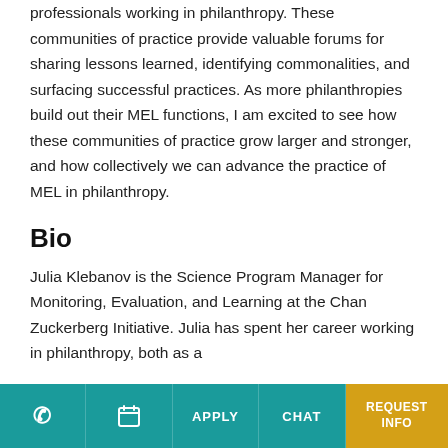professionals working in philanthropy. These communities of practice provide valuable forums for sharing lessons learned, identifying commonalities, and surfacing successful practices. As more philanthropies build out their MEL functions, I am excited to see how these communities of practice grow larger and stronger, and how collectively we can advance the practice of MEL in philanthropy.
Bio
Julia Klebanov is the Science Program Manager for Monitoring, Evaluation, and Learning at the Chan Zuckerberg Initiative. Julia has spent her career working in philanthropy, both as a...
Phone | Calendar | APPLY | CHAT | REQUEST INFO